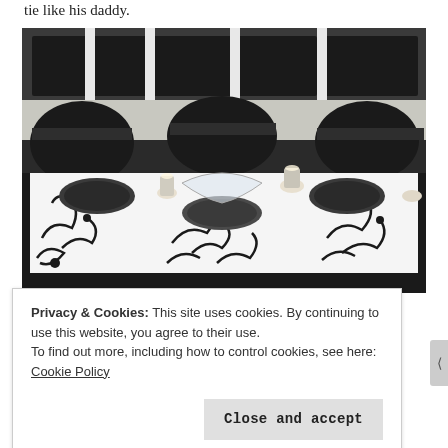tie like his daddy.
[Figure (photo): A decorated banquet table with a black and white floral/scroll patterned tablecloth. Black charger plates and candles are on the table. Black chair covers visible behind the table. Windows with white frames visible in the background.]
Privacy & Cookies: This site uses cookies. By continuing to use this website, you agree to their use.
To find out more, including how to control cookies, see here: Cookie Policy
Close and accept